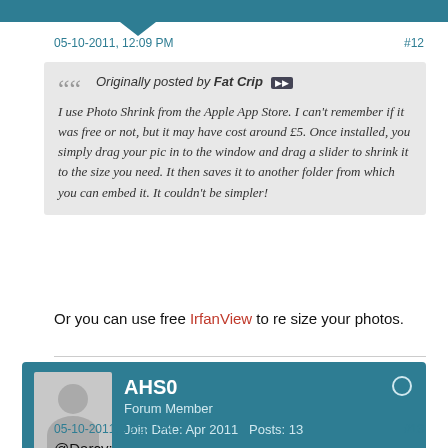05-10-2011, 12:09 PM
#12
Originally posted by Fat Crip [icon]
I use Photo Shrink from the Apple App Store. I can't remember if it was free or not, but it may have cost around £5. Once installed, you simply drag your pic in to the window and drag a slider to shrink it to the size you need. It then saves it to another folder from which you can embed it. It couldn't be simpler!
Or you can use free IrfanView to re size your photos.
[Figure (other): User profile card for AHS0, Forum Member, Join Date: Apr 2011, Posts: 13, with avatar placeholder]
05-10-2011, 12:28 PM
#13
@Darcy: